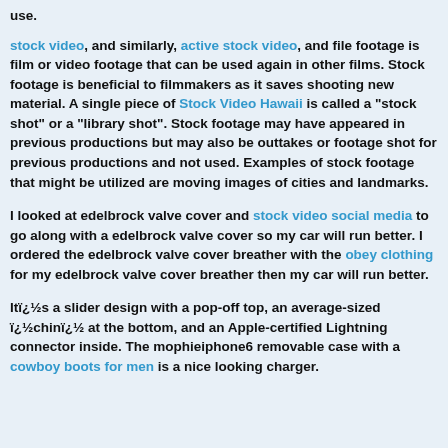use.
stock video, and similarly, active stock video, and file footage is film or video footage that can be used again in other films. Stock footage is beneficial to filmmakers as it saves shooting new material. A single piece of Stock Video Hawaii is called a "stock shot" or a "library shot". Stock footage may have appeared in previous productions but may also be outtakes or footage shot for previous productions and not used. Examples of stock footage that might be utilized are moving images of cities and landmarks.
I looked at edelbrock valve cover and stock video social media to go along with a edelbrock valve cover so my car will run better. I ordered the edelbrock valve cover breather with the obey clothing for my edelbrock valve cover breather then my car will run better.
Itï¿½s a slider design with a pop-off top, an average-sized ï¿½chinï¿½ at the bottom, and an Apple-certified Lightning connector inside. The mophieiphone6 removable case with a cowboy boots for men is a nice looking charger.